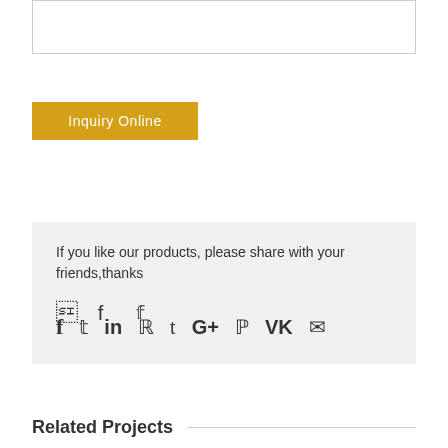Inquiry Online
If you like our products, please share with your friends,thanks
Related Projects